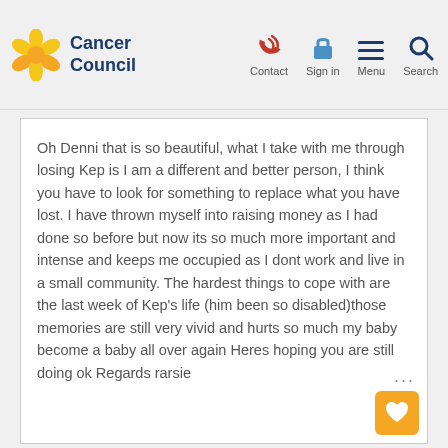Cancer Council | Contact | Sign in | Menu | Search
Oh Denni that is so beautiful, what I take with me through losing Kep is I am a different and better person, I think you have to look for something to replace what you have lost. I have thrown myself into raising money as I had done so before but now its so much more important and intense and keeps me occupied as I dont work and live in a small community. The hardest things to cope with are the last week of Kep's life (him been so disabled)those memories are still very vivid and hurts so much my baby become a baby all over again Heres hoping you are still doing ok Regards rarsie